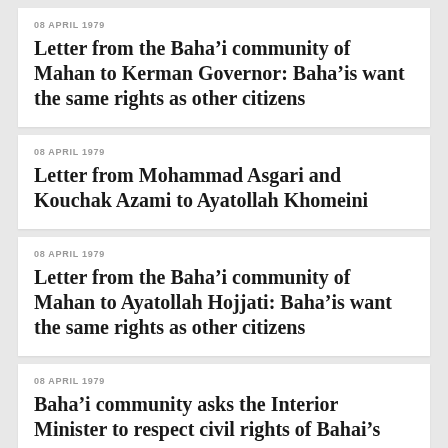Letter from the Baha’i community of Mahan to Kerman Governor: Baha’is want the same rights as other citizens
08 APRIL 1979
Letter from Mohammad Asgari and Kouchak Azami to Ayatollah Khomeini
08 APRIL 1979
Letter from the Baha’i community of Mahan to Ayatollah Hojjati: Baha’is want the same rights as other citizens
08 APRIL 1979
Baha’i community asks the Interior Minister to respect civil rights of Bahai’s
08 APRIL 1979